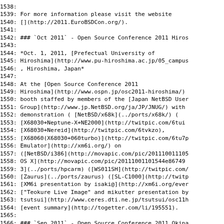1538:
1539: For more information please visit the website
1540: [](http://2011.EuroBSDCon.org/).
1541:
1542: ### `Oct 2011` - Open Source Conference 2011 Hiros
1543:
1544: *Oct. 1, 2011, [Prefectual University of
1545: Hiroshima](http://www.pu-hiroshima.ac.jp/05_campus
1546: , Hiroshima, Japan*
1547:
1548: At the [Open Source Conference 2011
1549: Hiroshima](http://www.ospn.jp/osc2011-hiroshima/)
1550: booth staffed by members of the [Japan NetBSD User
1551: Group](http://www.jp.NetBSD.org/ja/JP/JNUG/) with
1552: demonstration ( [NetBSD/x68k](../ports/x68k/) (
1553: [X68030+Neptune-X+NE2000](http://twitpic.com/6tui
1554: [X68030+Nereid](http://twitpic.com/6tvkzo),
1555: [X68060(X68030+060turbo)](http://twitpic.com/6tu7p
1556: Emulator](http://xm6i.org/) on
1557: ([NetBSD/i386](http://movapic.com/pic/20111001110s
1558: OS X](http://movapic.com/pic/20111001101544e86749
1559: 3](../ports/hpcarm) ([WS011SH](http://twitpic.com/
1560: [Zaurus](../ports/zaurus) ([SL-C1000](http://twitp
1561: [XM6i presentation by isaki@](http://xm6i.org/ever
1562: ["Teokure Live Image" and mikutter presentation by
1563: tsutsui](http://www.ceres.dti.ne.jp/tsutsui/osc11h
1564: [event summary](http://togetter.com/li/195551).
1565:
1566: ### `Sep 2011` - Open Source Conference 2011 Okina
1567:
1568: *Sep 17, 2011, [Nishihara-cho, Okinawa...